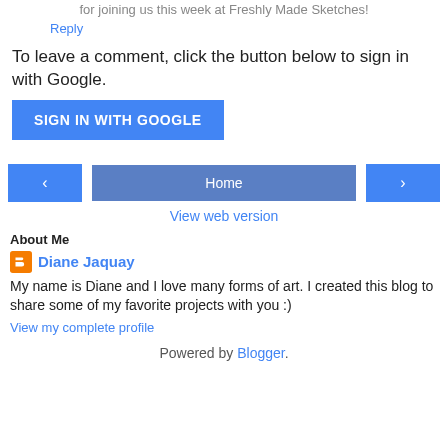for joining us this week at Freshly Made Sketches!
Reply
To leave a comment, click the button below to sign in with Google.
[Figure (other): SIGN IN WITH GOOGLE button (blue)]
[Figure (other): Navigation bar with left arrow, Home, and right arrow buttons]
View web version
About Me
Diane Jaquay
My name is Diane and I love many forms of art. I created this blog to share some of my favorite projects with you :)
View my complete profile
Powered by Blogger.